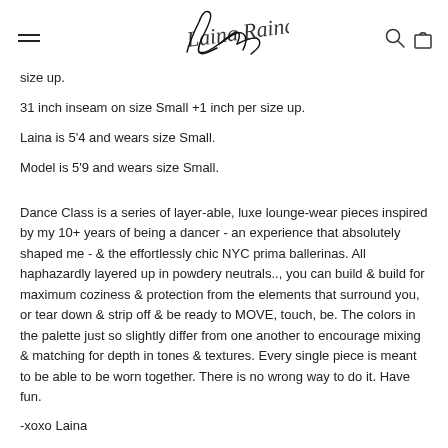[Navigation header with hamburger menu, brand signature logo, search and bag icons]
size up.
31 inch inseam on size Small +1 inch per size up.
Laina is 5'4 and wears size Small.
Model is 5'9 and wears size Small.
Dance Class is a series of layer-able, luxe lounge-wear pieces inspired by my 10+ years of being a dancer - an experience that absolutely shaped me - & the effortlessly chic NYC prima ballerinas. All haphazardly layered up in powdery neutrals.., you can build & build for maximum coziness & protection from the elements that surround you, or tear down & strip off & be ready to MOVE, touch, be. The colors in the palette just so slightly differ from one another to encourage mixing & matching for depth in tones & textures. Every single piece is meant to be able to be worn together. There is no wrong way to do it. Have fun.
-xoxo Laina